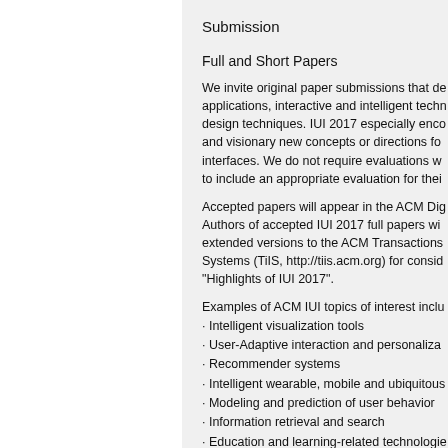Submission
Full and Short Papers
We invite original paper submissions that de applications, interactive and intelligent techn design techniques. IUI 2017 especially enco and visionary new concepts or directions fo interfaces. We do not require evaluations w to include an appropriate evaluation for thei
Accepted papers will appear in the ACM Dig Authors of accepted IUI 2017 full papers wi extended versions to the ACM Transactions Systems (TiIS, http://tiis.acm.org) for consid "Highlights of IUI 2017".
Examples of ACM IUI topics of interest inclu
· Intelligent visualization tools
· User-Adaptive interaction and personaliza
· Recommender systems
· Intelligent wearable, mobile and ubiquitous
· Modeling and prediction of user behavior
· Information retrieval and search
· Education and learning-related technologie
· Social media analysis
· Multi-modal interfaces (speech, gestures, information etc.)